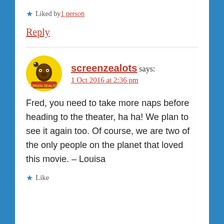★ Liked by 1 person
Reply
screenzealots says:
1 Oct 2016 at 2:36 pm
Fred, you need to take more naps before heading to the theater, ha ha! We plan to see it again too. Of course, we are two of the only people on the planet that loved this movie. – Louisa
★ Like